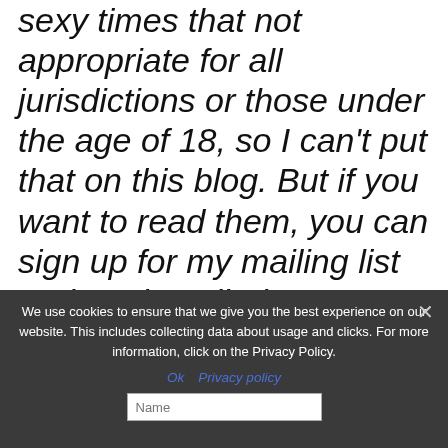sexy times that not appropriate for all jurisdictions or those under the age of 18, so I can't put that on this blog. But if you want to read them, you can sign up for my mailing list and get it mailed to you! (Note: You can still continue reading the non-sexy times part of the story below)
We use cookies to ensure that we give you the best experience on our website. This includes collecting data about usage and clicks. For more information, click on the Privacy Policy.